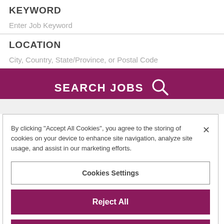KEYWORD
Enter Job Keyword
LOCATION
City, Country, State/Province, or Postal Code
[Figure (screenshot): SEARCH JOBS button with magnifying glass icon on dark magenta/maroon background]
By clicking “Accept All Cookies”, you agree to the storing of cookies on your device to enhance site navigation, analyze site usage, and assist in our marketing efforts.
Cookies Settings
Reject All
Accept All Cookies